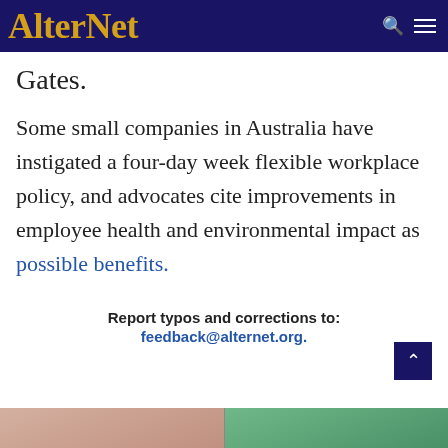AlterNet
Gates.
Some small companies in Australia have instigated a four-day week flexible workplace policy, and advocates cite improvements in employee health and environmental impact as possible benefits.
Report typos and corrections to: feedback@alternet.org.
[Figure (photo): Bottom strip showing partial photos of people]